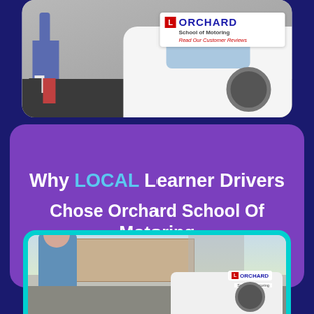[Figure (photo): Photo of a learner driver standing beside a white Orchard School of Motoring car on a dark asphalt surface. The car door displays the Orchard School of Motoring logo and 'Read Our Customer Reviews' text.]
Why LOCAL Learner Drivers Chose Orchard School Of Motoring
[Figure (photo): Photo of a young female learner driver standing in front of a white Orchard School of Motoring car with a building and scaffolding visible in the background.]